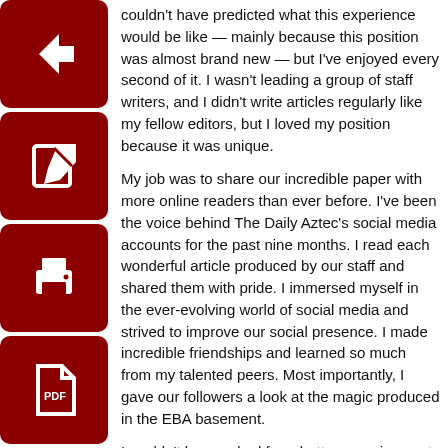[Figure (other): Four dark red square icon buttons stacked vertically on the left side: back arrow, edit/write, print, and PDF document icons]
couldn't have predicted what this experience would be like — mainly because this position was almost brand new — but I've enjoyed every second of it. I wasn't leading a group of staff writers, and I didn't write articles regularly like my fellow editors, but I loved my position because it was unique.

My job was to share our incredible paper with more online readers than ever before. I've been the voice behind The Daily Aztec's social media accounts for the past nine months. I read each wonderful article produced by our staff and shared them with pride. I immersed myself in the ever-evolving world of social media and strived to improve our social presence. I made incredible friendships and learned so much from my talented peers. Most importantly, I gave our followers a look at the magic produced in the EBA basement.

I couldn't have asked for a better experience at The Daily Aztec, and at San Diego State University as a whole, and I have many people to thank for that.

Thank you to our Editor in Chief, Kelly Hillock, for believing in the goals I set for our social media accounts and for helping me surpass each one. You've been a great leader and you helped me build a solid social media foundation for The Daily Aztec.